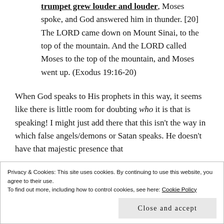trumpet grew louder and louder, Moses spoke, and God answered him in thunder. [20] The LORD came down on Mount Sinai, to the top of the mountain. And the LORD called Moses to the top of the mountain, and Moses went up. (Exodus 19:16-20)
When God speaks to His prophets in this way, it seems like there is little room for doubting who it is that is speaking! I might just add there that this isn't the way in which false angels/demons or Satan speaks. He doesn't have that majestic presence that
Privacy & Cookies: This site uses cookies. By continuing to use this website, you agree to their use. To find out more, including how to control cookies, see here: Cookie Policy
Close and accept